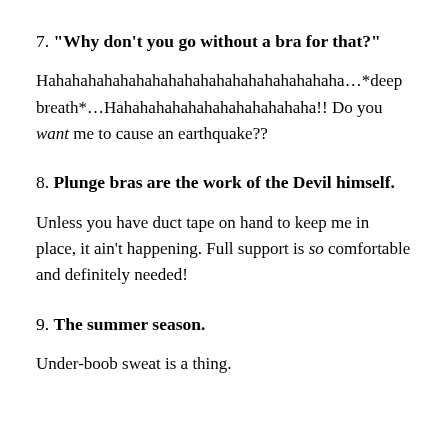7. “Why don’t you go without a bra for that?”
Hahahahahahahahahahahahahahahahahahaha…*deep breath*…Hahahahahahahahahahahahaha!! Do you want me to cause an earthquake??
8. Plunge bras are the work of the Devil himself.
Unless you have duct tape on hand to keep me in place, it ain’t happening. Full support is so comfortable and definitely needed!
9. The summer season.
Under-boob sweat is a thing.